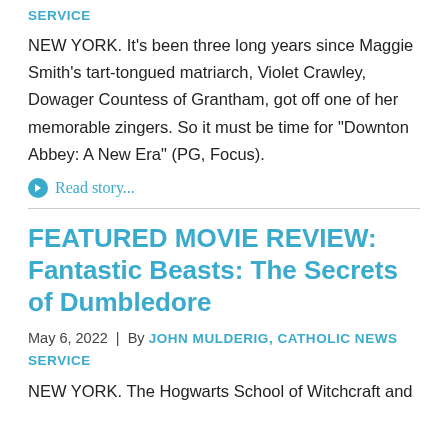SERVICE
NEW YORK. It's been three long years since Maggie Smith's tart-tongued matriarch, Violet Crawley, Dowager Countess of Grantham, got off one of her memorable zingers. So it must be time for “Downton Abbey: A New Era” (PG, Focus).
Read story...
FEATURED MOVIE REVIEW: Fantastic Beasts: The Secrets of Dumbledore
May 6, 2022  |  By JOHN MULDERIG, CATHOLIC NEWS SERVICE
NEW YORK. The Hogwarts School of Witchcraft and